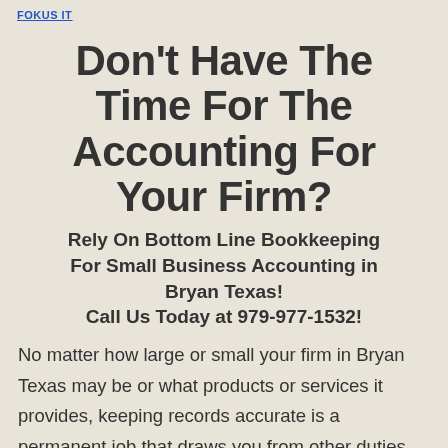FOKUS IT
Don't Have The Time For The Accounting For Your Firm?
Rely On Bottom Line Bookkeeping For Small Business Accounting in Bryan Texas! Call Us Today at 979-977-1532!
No matter how large or small your firm in Bryan Texas may be or what products or services it provides, keeping records accurate is a permanent job that draws you from other duties that include: